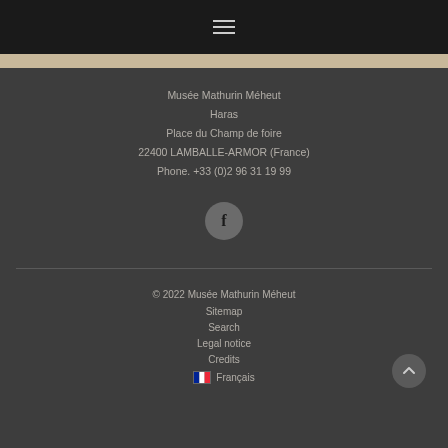≡ (hamburger menu icon)
Musée Mathurin Méheut
Haras
Place du Champ de foire
22400 LAMBALLE-ARMOR (France)
Phone. +33 (0)2 96 31 19 99
[Figure (logo): Facebook circular button icon]
© 2022 Musée Mathurin Méheut
Sitemap
Search
Legal notice
Credits
Français
© 2022 Musée Mathurin Méheut